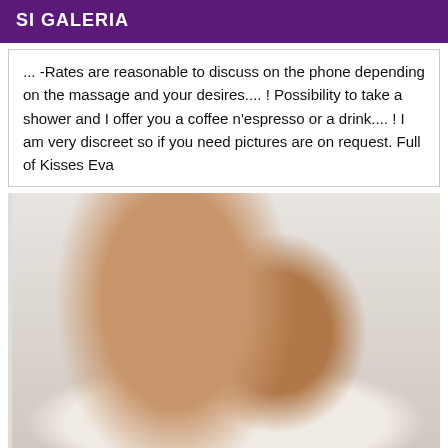SI GALERIA
... -Rates are reasonable to discuss on the phone depending on the massage and your desires.... ! Possibility to take a shower and I offer you a coffee n'espresso or a drink.... ! I am very discreet so if you need pictures are on request. Full of Kisses Eva
[Figure (photo): Woman posing in white outfit on white background]
New gerls in Twin Falls